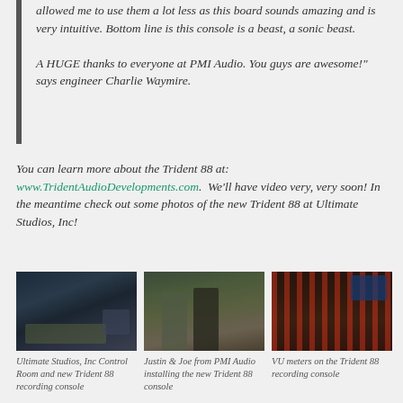allowed me to use them a lot less as this board sounds amazing and is very intuitive. Bottom line is this console is a beast, a sonic beast.

A HUGE thanks to everyone at PMI Audio. You guys are awesome!" says engineer Charlie Waymire.
You can learn more about the Trident 88 at: www.TridentAudioDevelopments.com. We'll have video very, very soon! In the meantime check out some photos of the new Trident 88 at Ultimate Studios, Inc!
[Figure (photo): Ultimate Studios, Inc Control Room with the new Trident 88 recording console]
Ultimate Studios, Inc Control Room and new Trident 88 recording console
[Figure (photo): Justin & Joe from PMI Audio installing the new Trident 88 console]
Justin & Joe from PMI Audio installing the new Trident 88 console
[Figure (photo): VU meters on the Trident 88 recording console]
VU meters on the Trident 88 recording console